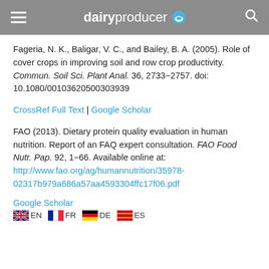dairyproducer
Fageria, N. K., Baligar, V. C., and Bailey, B. A. (2005). Role of cover crops in improving soil and row crop productivity. Commun. Soil Sci. Plant Anal. 36, 2733−2757. doi: 10.1080/00103620500303939
CrossRef Full Text | Google Scholar
FAO (2013). Dietary protein quality evaluation in human nutrition. Report of an FAQ expert consultation. FAO Food Nutr. Pap. 92, 1−66. Available online at: http://www.fao.org/ag/humannutrition/35978-02317b979a686a57aa4593304ffc17f06.pdf
Google Scholar
EN FR DE ES